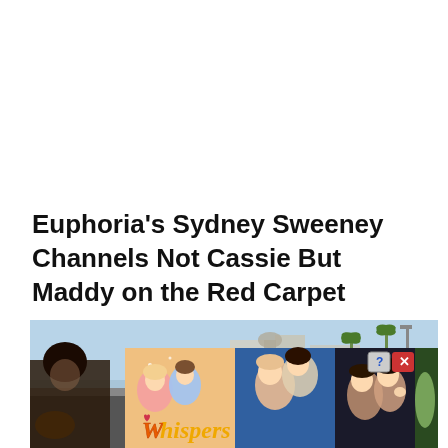Euphoria's Sydney Sweeney Channels Not Cassie But Maddy on the Red Carpet
[Figure (photo): A composite image showing a red carpet outdoor scene with palm trees and buildings in the background, overlaid with an advertisement panel for a mobile app called 'Whispers' featuring illustrated romantic scenes. An X/close button and info button appear in the top-right of the ad.]